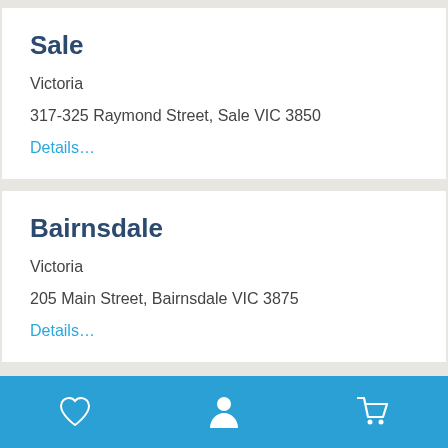Sale
Victoria
317-325 Raymond Street, Sale VIC 3850
Details…
Bairnsdale
Victoria
205 Main Street, Bairnsdale VIC 3875
Details…
Navigation bar with heart, person, and cart icons